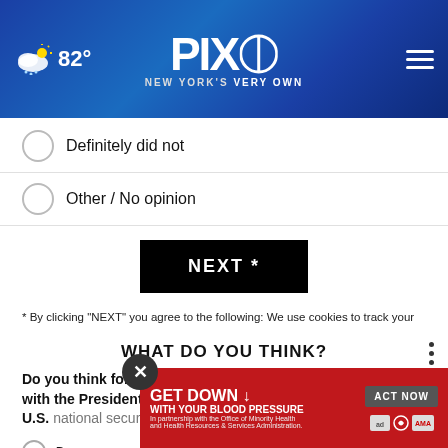[Figure (screenshot): PIX11 news website header with weather showing 82°, PIX11 logo with 'NEW YORK'S VERY OWN' tagline, and hamburger menu icon on blue gradient background with city skyline]
Definitely did not
Other / No opinion
NEXT *
* By clicking "NEXT" you agree to the following: We use cookies to track your survey answers. If you would like to continue with this survey, please read and agree to the CivicScience Privacy Policy and Terms of Service
WHAT DO YOU THINK?
Do you think former President Trump's failure to comply with the Presidential Records Act did or did not jeopardize U.S. national security?
[Figure (screenshot): Red advertisement banner: GET DOWN WITH YOUR BLOOD PRESSURE - ACT NOW button, ad council and AMA logos, In partnership with the Office of Minority Health and Health Resources & Services Administration]